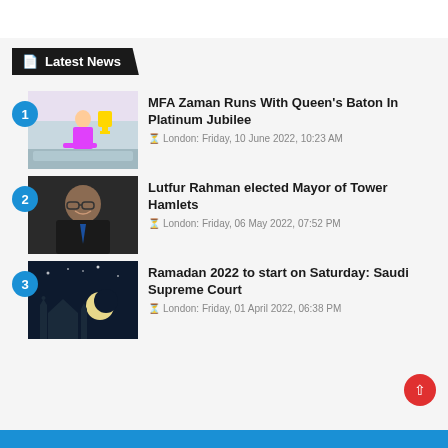Latest News
MFA Zaman Runs With Queen's Baton In Platinum Jubilee — London: Friday, 10 June 2022, 10:23 AM
Lutfur Rahman elected Mayor of Tower Hamlets — London: Friday, 06 May 2022, 07:52 PM
Ramadan 2022 to start on Saturday: Saudi Supreme Court — London: Friday, 01 April 2022, 06:38 PM